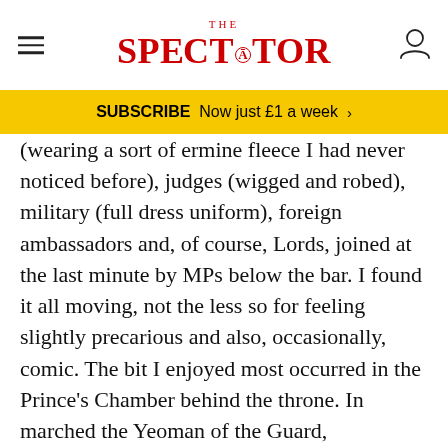THE SPECTATOR
SUBSCRIBE Now just £1 a week >
(wearing a sort of ermine fleece I had never noticed before), judges (wigged and robed), military (full dress uniform), foreign ambassadors and, of course, Lords, joined at the last minute by MPs below the bar. I found it all moving, not the less so for feeling slightly precarious and also, occasionally, comic. The bit I enjoyed most occurred in the Prince's Chamber behind the throne. In marched the Yeoman of the Guard, sparklingly turned out. Then someone laid lighted lanterns in front of each and someone else shouted the order that the lanterns be taken up. This done, the Beefeaters slow-marched off to search the